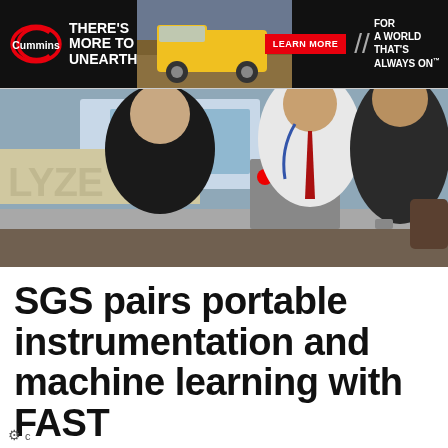[Figure (other): Cummins advertisement banner: black background, Cummins logo, tagline 'THERE'S MORE TO UNEARTH', mining truck image, red LEARN MORE button, and text 'FOR A WORLD THAT'S ALWAYS ON']
[Figure (photo): Three men standing around industrial equipment with control panel buttons, one wearing a black suit, one in a white shirt with red tie and lanyard, one in dark jacket. Partial text 'LYZE' visible on equipment.]
SGS pairs portable instrumentation and machine learning with FAST